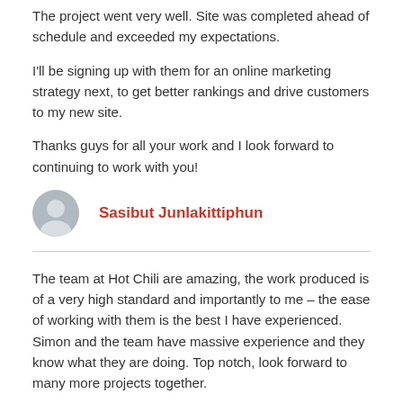The project went very well. Site was completed ahead of schedule and exceeded my expectations.
I'll be signing up with them for an online marketing strategy next, to get better rankings and drive customers to my new site.
Thanks guys for all your work and I look forward to continuing to work with you!
Sasibut Junlakittiphun
The team at Hot Chili are amazing, the work produced is of a very high standard and importantly to me – the ease of working with them is the best I have experienced. Simon and the team have massive experience and they know what they are doing. Top notch, look forward to many more projects together.